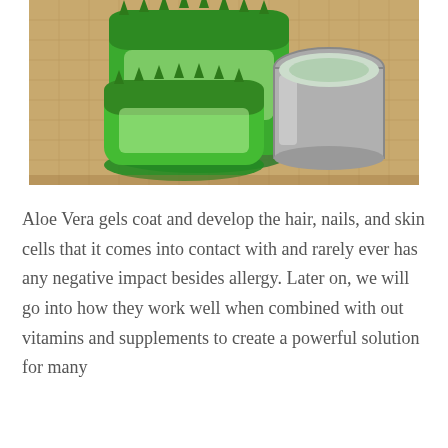[Figure (photo): Photo of sliced fresh aloe vera leaves stacked on a burlap surface next to a small metal cup containing aloe vera gel.]
Aloe Vera gels coat and develop the hair, nails, and skin cells that it comes into contact with and rarely ever has any negative impact besides allergy. Later on, we will go into how they work well when combined with out vitamins and supplements to create a powerful solution for many